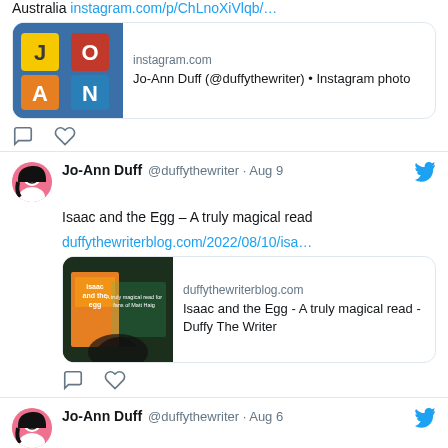Australia instagram.com/p/ChLnoXiVlqb/...
[Figure (screenshot): Instagram card showing 'Jo-Ann Duff (@duffythewriter) • Instagram photo' with a colorful photo of toy letter blocks spelling JO AN]
[Figure (other): Tweet action icons: comment bubble and heart]
Jo-Ann Duff @duffythewriter · Aug 9
Isaac and the Egg – A truly magical read
duffythewriterblog.com/2022/08/10/isa...
[Figure (screenshot): Blog post card: 'duffythewriterblog.com' - Isaac and the Egg - A truly magical read - Duffy The Writer, with book cover image]
[Figure (other): Tweet action icons: comment bubble and heart]
Jo-Ann Duff @duffythewriter · Aug 6